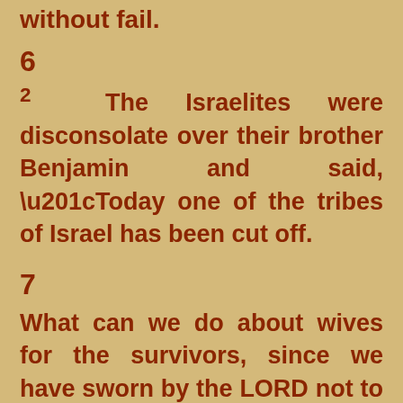without fail.
6
2 The Israelites were disconsolate over their brother Benjamin and said, “Today one of the tribes of Israel has been cut off.
7
What can we do about wives for the survivors, since we have sworn by the LORD not to give them any of our daughters in marriage?”
8